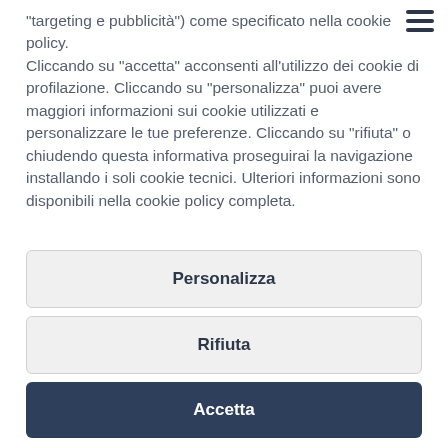"targeting e pubblicità") come specificato nella cookie policy. Cliccando su "accetta" acconsenti all'utilizzo dei cookie di profilazione. Cliccando su "personalizza" puoi avere maggiori informazioni sui cookie utilizzati e personalizzare le tue preferenze. Cliccando su "rifiuta" o chiudendo questa informativa proseguirai la navigazione installando i soli cookie tecnici. Ulteriori informazioni sono disponibili nella cookie policy completa.
Personalizza
Rifiuta
Accetta